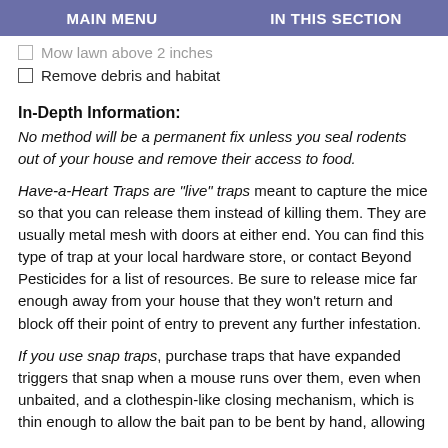MAIN MENU    IN THIS SECTION
Mow lawn above 2 inches
Remove debris and habitat
In-Depth Information:
No method will be a permanent fix unless you seal rodents out of your house and remove their access to food.
Have-a-Heart Traps are "live" traps meant to capture the mice so that you can release them instead of killing them. They are usually metal mesh with doors at either end. You can find this type of trap at your local hardware store, or contact Beyond Pesticides for a list of resources. Be sure to release mice far enough away from your house that they won't return and block off their point of entry to prevent any further infestation.
If you use snap traps, purchase traps that have expanded triggers that snap when a mouse runs over them, even when unbaited, and a clothespin-like closing mechanism, which is thin enough to allow the bait pan to be bent by hand, allowing